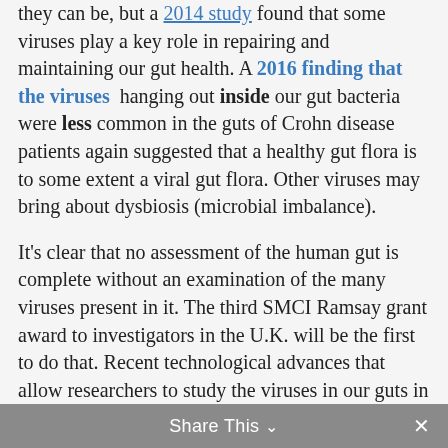they can be, but a 2014 study found that some viruses play a key role in repairing and maintaining our gut health. A 2016 finding that the viruses hanging out inside our gut bacteria were less common in the guts of Crohn disease patients again suggested that a healthy gut flora is to some extent a viral gut flora. Other viruses may bring about dysbiosis (microbial imbalance).
It's clear that no assessment of the human gut is complete without an examination of the many viruses present in it. The third SMCI Ramsay grant award to investigators in the U.K. will be the first to do that. Recent technological advances that allow researchers to study the viruses in our guts in detail will be used to discover which gut viruses are present in ME/CFS patients and what role they might play in their gut health.
Share This ∨  ×